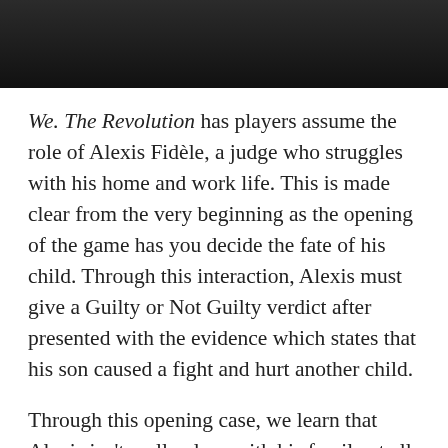[Figure (screenshot): Dark screenshot from the game We. The Revolution showing a dark interface screen]
We. The Revolution has players assume the role of Alexis Fidèle, a judge who struggles with his home and work life. This is made clear from the very beginning as the opening of the game has you decide the fate of his child. Through this interaction, Alexis must give a Guilty or Not Guilty verdict after presented with the evidence which states that his son caused a fight and hurt another child.
Through this opening case, we learn that Alexis isn't really close with his family at all and instead spends his time drinking or dwelling on the divide of the common folk